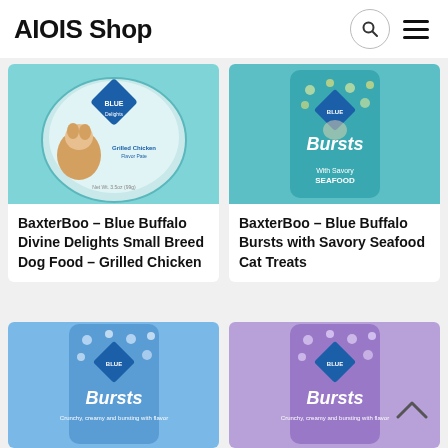AIOIS Shop
[Figure (photo): Blue Buffalo Divine Delights Small Breed Dog Food – Grilled Chicken product image]
BaxterBoo – Blue Buffalo Divine Delights Small Breed Dog Food – Grilled Chicken
[Figure (photo): Blue Buffalo Bursts with Savory Seafood Cat Treats product image]
BaxterBoo – Blue Buffalo Bursts with Savory Seafood Cat Treats
[Figure (photo): Blue Buffalo Bursts cat treats blue packaging product image]
[Figure (photo): Blue Buffalo Bursts cat treats purple packaging product image]